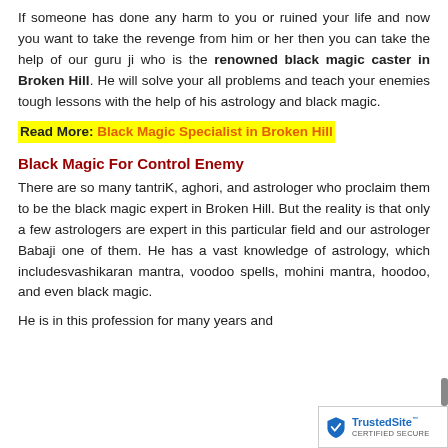If someone has done any harm to you or ruined your life and now you want to take the revenge from him or her then you can take the help of our guru ji who is the renowned black magic caster in Broken Hill. He will solve your all problems and teach your enemies tough lessons with the help of his astrology and black magic.
Read More: Black Magic Specialist in Broken Hill
Black Magic For Control Enemy
There are so many tantriK, aghori, and astrologer who proclaim them to be the black magic expert in Broken Hill. But the reality is that only a few astrologers are expert in this particular field and our astrologer Babaji one of them. He has a vast knowledge of astrology, which includesvashikaran mantra, voodoo spells, mohini mantra, hoodoo, and even black magic.
He is in this profession for many years and